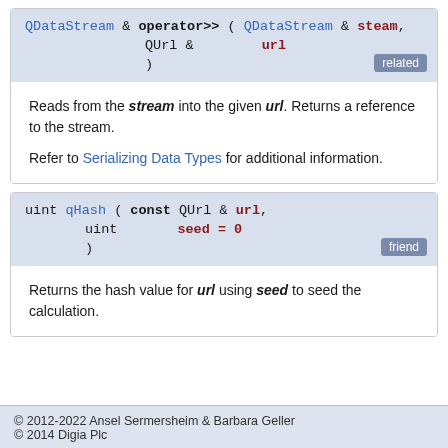QDataStream & operator>> ( QDataStream &  steam,
                          QUrl &          url
                        )  [related]
Reads from the stream into the given url. Returns a reference to the stream.

Refer to Serializing Data Types for additional information.
uint qHash ( const QUrl &  url,
             uint          seed = 0
           )  [friend]
Returns the hash value for url using seed to seed the calculation.
© 2012-2022 Ansel Sermersheim & Barbara Geller
© 2014 Digia Plc